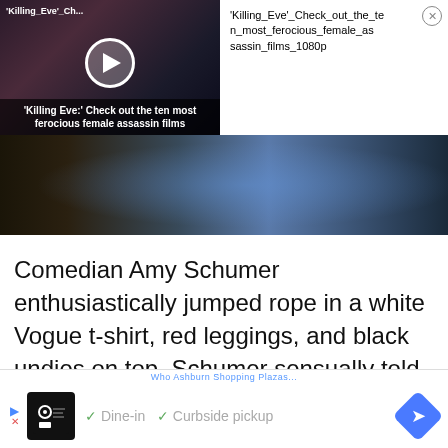[Figure (screenshot): Video thumbnail for 'Killing Eve' Check out the ten most ferocious female assassin films, showing a dark-toned image with a play button overlay and white text title at bottom]
'Killing_Eve'_Check_out_the_ten_most_ferocious_female_assassin_films_1080p
[Figure (photo): Wide banner screenshot of a scene, dark tones with blue circular UI elements]
Comedian Amy Schumer enthusiastically jumped rope in a white Vogue t-shirt, red leggings, and black undies on top. Schumer sensually told us to exercise our right to vote while holding the blue jump rope and rocking a mess side bun.
[Figure (screenshot): Advertisement bar at the bottom showing a restaurant ad with icon, 'Dine-in' and 'Curbside pickup' text with checkmarks, and navigation arrow icon]